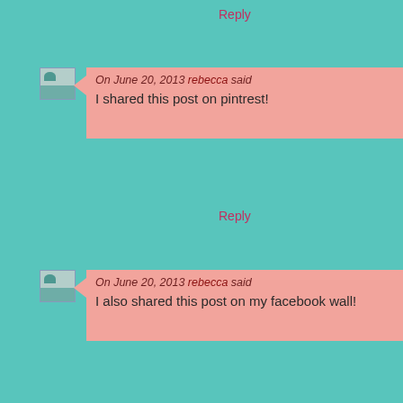Reply
On June 20, 2013 rebecca said
I shared this post on pintrest!
Reply
On June 20, 2013 rebecca said
I also shared this post on my facebook wall!
Reply
On June 20, 2013 Terisa said
Pinned on Pinterest and shared on Facebook
Reply
On June 20, 2013 Corinne said
I love how the recipes are so simple yet turn out s... wait to use her new cookbook!
Reply